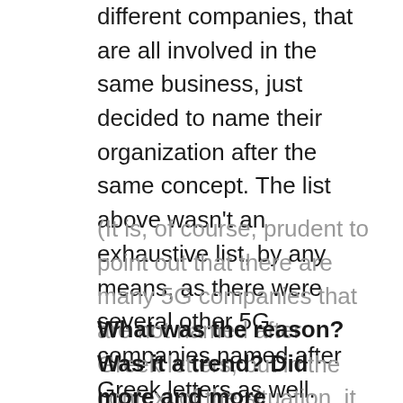different companies, that are all involved in the same business, just decided to name their organization after the same concept. The list above wasn't an exhaustive list, by any means, as there were several other 5G companies named after Greek letters as well.
(It is, of course, prudent to point out that there are many 5G companies that are not named after Greek letters, but in the context of the situation, it is still an extraordinarily large number of companies that are.)
What was the reason? Was it a trend? Did more and more companies involved in this industry just figure that naming a tech and/or 5G network/company after Greek letters was a good